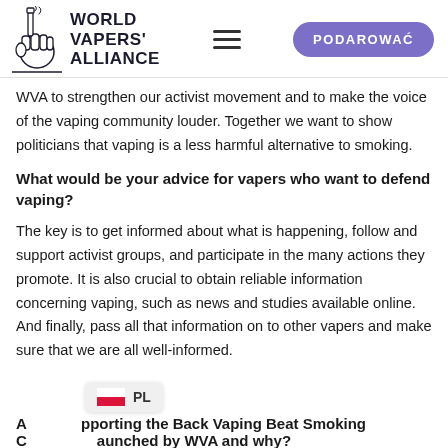World Vapers' Alliance | PODAROWAĆ
WVA to strengthen our activist movement and to make the voice of the vaping community louder. Together we want to show politicians that vaping is a less harmful alternative to smoking.
What would be your advice for vapers who want to defend vaping?
The key is to get informed about what is happening, follow and support activist groups, and participate in the many actions they promote. It is also crucial to obtain reliable information concerning vaping, such as news and studies available online. And finally, pass all that information on to other vapers and make sure that we are all well-informed.
About supporting the Back Vaping Beat Smoking Campaign launched by WVA and why?